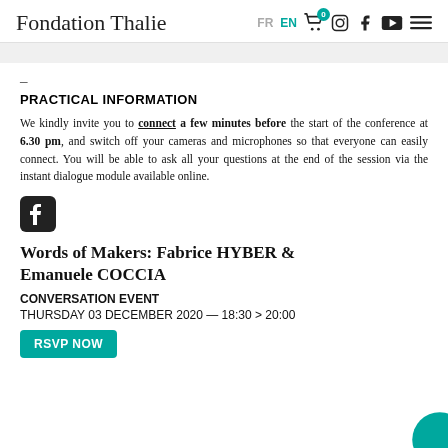Fondation Thalie — FR EN navigation and social icons
PRACTICAL INFORMATION
We kindly invite you to connect a few minutes before the start of the conference at 6.30 pm, and switch off your cameras and microphones so that everyone can easily connect. You will be able to ask all your questions at the end of the session via the instant dialogue module available online.
[Figure (logo): Facebook logo icon (rounded square with f)]
Words of Makers: Fabrice HYBER & Emanuele COCCIA
CONVERSATION EVENT
THURSDAY 03 DECEMBER 2020 — 18:30 > 20:00
RSVP NOW